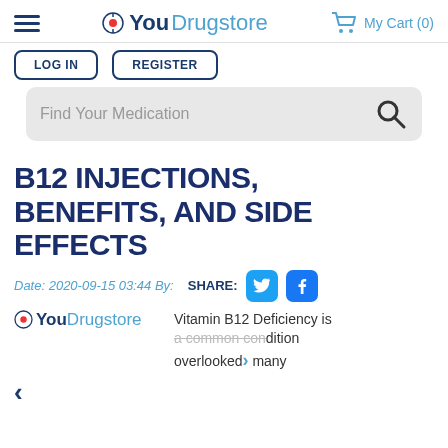YouDrugstore
[Figure (screenshot): Navigation bar with hamburger menu, YouDrugstore logo, LOG IN and REGISTER buttons, My Cart (0) with cart icon, and search bar with placeholder 'Find Your Medication']
B12 INJECTIONS, BENEFITS, AND SIDE EFFECTS
Date: 2020-09-15 03:44 By:  SHARE:
Vitamin B12 Deficiency is a common condition overlooked by many